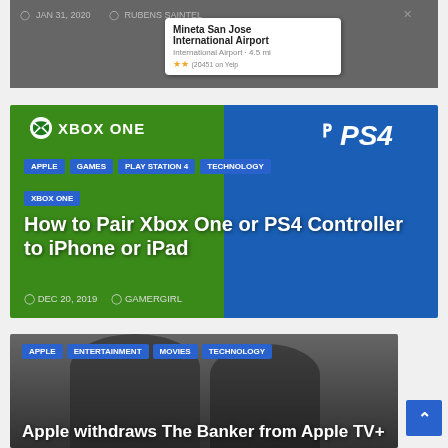[Figure (screenshot): Partial article card showing date JAN 31, 2020, author RUBENS SAINTEL, and a map popup for Mineta San Jose International Airport]
[Figure (photo): Article card with Xbox One and PS4 controller imagery on green/blue background. Tags: APPLE, GAMES, PLAY STATION 4, TECHNOLOGY, XBOX ONE. Title: How to Pair Xbox One or PS4 Controller to iPhone or iPad. Date: DEC 20, 2019. Author: GAMERGIRL.]
[Figure (photo): Article card with grayscale photo of men in hats. Tags: APPLE, ENTERTAINMENT, MOVIES, TECHNOLOGY. Title: Apple withdraws The Banker from Apple TV+]